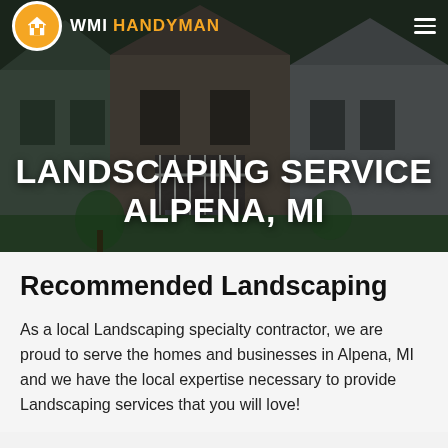[Figure (photo): Hero section with a dark-tinted photograph of suburban homes with porches and stairs. WMI Handyman logo and navigation bar overlaid at top. Large white bold text overlay reads 'LANDSCAPING SERVICE ALPENA, MI'.]
LANDSCAPING SERVICE ALPENA, MI
Recommended Landscaping
As a local Landscaping specialty contractor, we are proud to serve the homes and businesses in Alpena, MI and we have the local expertise necessary to provide Landscaping services that you will love!